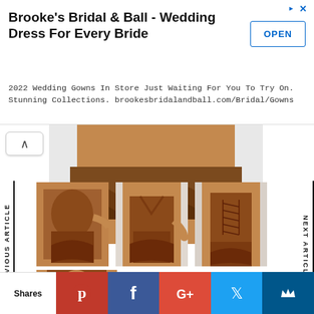[Figure (screenshot): Advertisement banner for Brooke's Bridal & Ball - Wedding Dress For Every Bride with OPEN button]
Brooke's Bridal & Ball - Wedding Dress For Every Bride
2022 Wedding Gowns In Store Just Waiting For You To Try On. Stunning Collections. brookesbridalandball.com/Bridal/Gowns
[Figure (photo): Close-up partial photo of a brown ruffled mini dress, lower portion visible]
PREVIOUS ARTICLE
NEXT ARTICLE
[Figure (photo): Three product photos of a brown ruched mini dress with ruffles shown from different angles]
[Figure (photo): Partial product photo of brown ruched dress top portion]
Shares